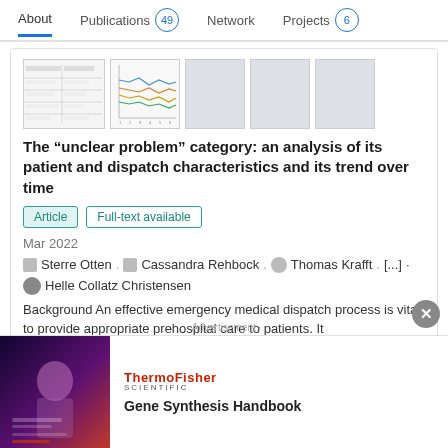About  Publications 49  Network  Projects 6
[Figure (screenshot): Thumbnails of article figures: a table/text image, a multi-line chart (with blue, orange, yellow lines), and three gray placeholder thumbnails]
The “unlear problem” category: an analysis of its patient and dispatch characteristics and its trend over time
Article  Full-text available
Mar 2022
Sterre Otten . Cassandra Rehbock . Thomas Krafft . [...] · Helle Collatz Christensen
Background An effective emergency medical dispatch process is vital to provide appropriate prehospital care to patients. It
Advertisement
Gene Synthesis Handbook